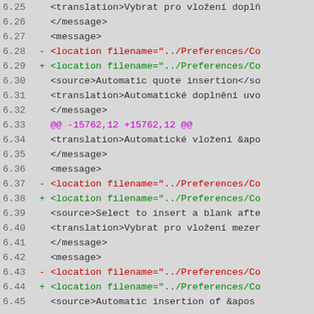Code diff view showing lines 6.25 through 6.45 of a file with translation XML messages
6.25     <translation>Vybrat pro vložení doplň
6.26     </message>
6.27     <message>
6.28 -       <location filename="../Preferences/Co
6.29 +       <location filename="../Preferences/Co
6.30         <source>Automatic quote insertion</so
6.31         <translation>Automatické doplnění uvo
6.32     </message>
6.33 @@ -15762,12 +15762,12 @@
6.34         <translation>Automatické vložení &apo
6.35     </message>
6.36     <message>
6.37 -       <location filename="../Preferences/Co
6.38 +       <location filename="../Preferences/Co
6.39         <source>Select to insert a blank afte
6.40         <translation>Vybrat pro vložení mezer
6.41     </message>
6.42     <message>
6.43 -       <location filename="../Preferences/Co
6.44 +       <location filename="../Preferences/Co
6.45         <source>Automatic insertion of &apos